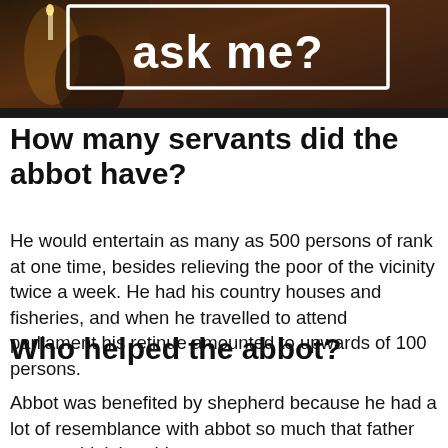[Figure (photo): A dark, ornate background scene with a person, and white bold text 'ask me?' displayed in the foreground within a white-bordered box]
How many servants did the abbot have?
He would entertain as many as 500 persons of rank at one time, besides relieving the poor of the vicinity twice a week. He had his country houses and fisheries, and when he travelled to attend parliament his retinue amounted to upwards of 100 persons.
Who helped the abbot?
Abbot was benefited by shepherd because he had a lot of resemblance with abbot so much that father pop wouldn't be able to